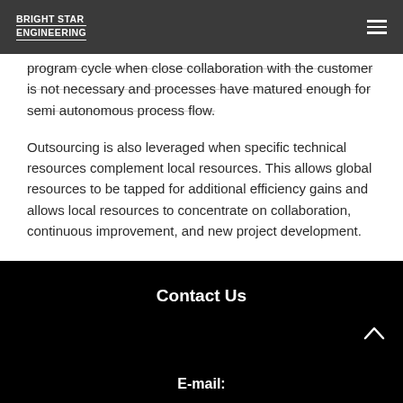BRIGHT STAR ENGINEERING
program cycle when close collaboration with the customer is not necessary and processes have matured enough for semi autonomous process flow.
Outsourcing is also leveraged when specific technical resources complement local resources. This allows global resources to be tapped for additional efficiency gains and allows local resources to concentrate on collaboration, continuous improvement, and new project development.
Contact Us
E-mail: